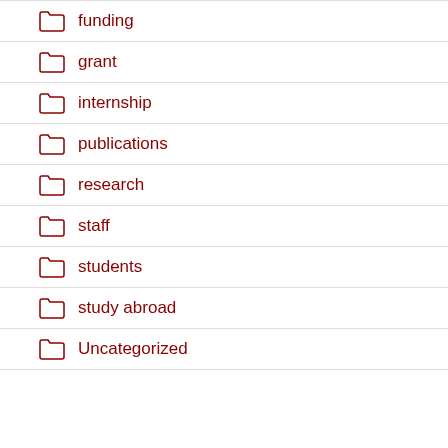funding
grant
internship
publications
research
staff
students
study abroad
Uncategorized